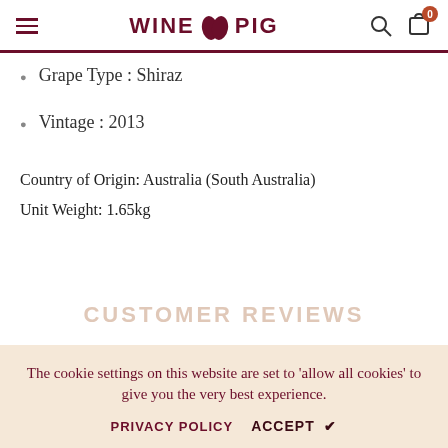WINE PIG — header with hamburger menu, search icon, cart icon (0)
Grape Type : Shiraz
Vintage : 2013
Country of Origin: Australia (South Australia)
Unit Weight: 1.65kg
The cookie settings on this website are set to 'allow all cookies' to give you the very best experience.
PRIVACY POLICY   ACCEPT ✔
CUSTOMER REVIEWS
DELIVERY INFORMATION